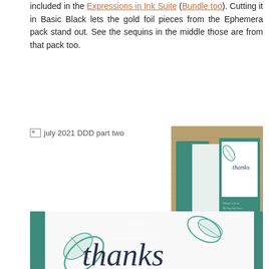included in the Expressions in Ink Suite (Bundle too). Cutting it in Basic Black lets the gold foil pieces from the Ephemera pack stand out. See the sequins in the middle those are from that pack too.
[Figure (photo): Broken image placeholder labeled 'july 2021 DDD part two']
[Figure (photo): Photo of a teal folded card opened to show a white insert with 'thanks' and teal leaf stamp, on a burlap background]
[Figure (photo): Close-up photo of a card front with teal stamped leaves and large script text 'thanks' in dark navy, with watermark text overlay]